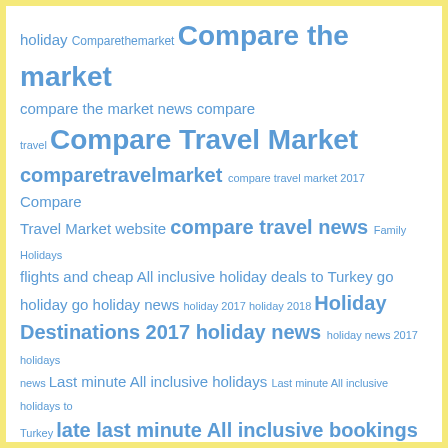[Figure (infographic): Tag cloud with various travel and holiday related keywords in different sizes, all in blue color. Larger tags include 'Compare the market', 'Compare Travel Market', 'comparetravelmarket', 'compare travel news', 'Holiday Destinations 2017', 'holiday news', 'late last minute All inclusive bookings & Turkey All inclusive Holidays. Call us now.' Smaller tags include 'holiday', 'Comparethemarket', 'compare the market news', 'compare travel', 'compare travel market 2017', 'Compare Travel Market website', 'Family Holidays', 'flights and cheap All inclusive holiday deals to Turkey go holiday', 'go holiday news', 'holiday 2017', 'holiday 2018', 'holiday news 2017', 'holidays news', 'Last minute All inclusive holidays', 'Last minute All inclusive holidays to Turkey', 'lowcost holidays to Spain package holiday', 'travel offers', 'Travel Supermarket']
Holiday Information
Destinations
Holiday Types